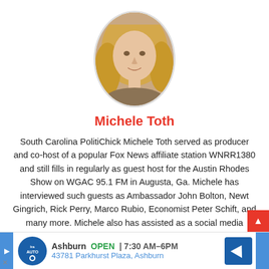[Figure (photo): Oval portrait photo of Michele Toth, a blonde woman]
Michele Toth
South Carolina PolitiChick Michele Toth served as producer and co-host of a popular Fox News affiliate station WNRR1380 and still fills in regularly as guest host for the Austin Rhodes Show on WGAC 95.1 FM in Augusta, Ga. Michele has interviewed such guests as Ambassador John Bolton, Newt Gingrich, Rick Perry, Marco Rubio, Economist Peter Schift, and many more. Michele also has assisted as a social media strategist for political campaigns in both South Carolina and Georgia. Michele holds a Masters Degree in Management and Leadership and currently works as an Administrator for a large healthcare entity in Augusta, Georgia. Her articles have been seen on the Daily Caller and several other conservative media sites. You can follow Michele on Fa...
[Figure (screenshot): Advertisement banner: Ira auto, Ashburn OPEN 7:30AM–6PM, 43781 Parkhurst Plaza, Ashburn]